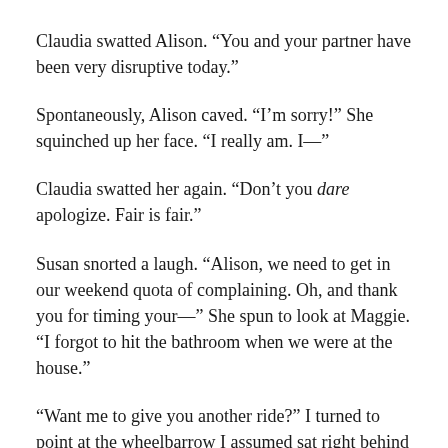Claudia swatted Alison. “You and your partner have been very disruptive today.”
Spontaneously, Alison caved. “I’m sorry!” She squinched up her face. “I really am. I—”
Claudia swatted her again. “Don’t you dare apologize. Fair is fair.”
Susan snorted a laugh. “Alison, we need to get in our weekend quota of complaining. Oh, and thank you for timing your—” She spun to look at Maggie. “I forgot to hit the bathroom when we were at the house.”
“Want me to give you another ride?” I turned to point at the wheelbarrow I assumed sat right behind me. Except in the fervor of our complaining, no one had thought to bring it back with us. I pointed at the house. “I can go get the